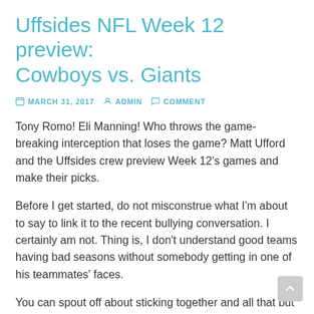Uffsides NFL Week 12 preview: Cowboys vs. Giants
MARCH 31, 2017  ADMIN  COMMENT
Tony Romo! Eli Manning! Who throws the game-breaking interception that loses the game? Matt Ufford and the Uffsides crew preview Week 12's games and make their picks.
Before I get started, do not misconstrue what I'm about to say to link it to the recent bullying conversation. I certainly am not. Thing is, I don't understand good teams having bad seasons without somebody getting in one of his teammates' faces.
You can spout off about sticking together and all that but at some point when the same guy or guys keep screwing up over and over and it is costing you games, somebody has to stand up and say so. And when they say so it might not be the nicest conversation. From all that I have seen Johnson works his butt off, plays extremely hard, produces and holds himself to a high standard